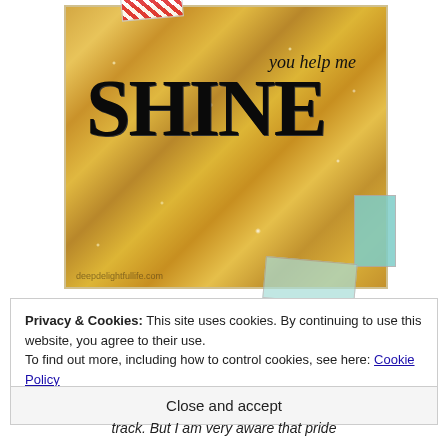[Figure (photo): A gold glitter card with the handwritten text 'you help me SHINE' in black on the glittery gold surface, with red striped tape at top and teal washi tape on the right side. Watermark reads 'deepdelightfullife.com'.]
Privacy & Cookies: This site uses cookies. By continuing to use this website, you agree to their use.
To find out more, including how to control cookies, see here: Cookie Policy
Close and accept
track. But I am very aware that pride